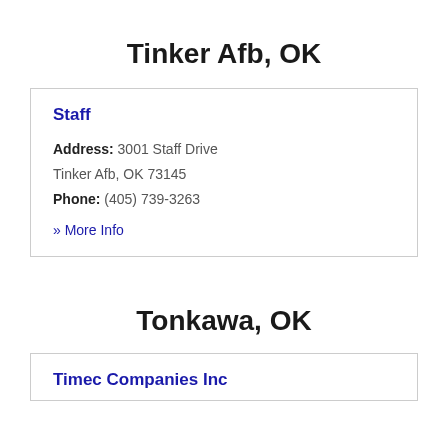Tinker Afb, OK
Staff
Address: 3001 Staff Drive
Tinker Afb, OK 73145
Phone: (405) 739-3263
» More Info
Tonkawa, OK
Timec Companies Inc